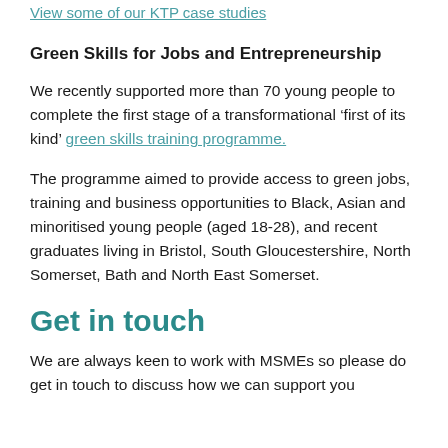View some of our KTP case studies
Green Skills for Jobs and Entrepreneurship
We recently supported more than 70 young people to complete the first stage of a transformational ‘first of its kind’ green skills training programme.
The programme aimed to provide access to green jobs, training and business opportunities to Black, Asian and minoritised young people (aged 18-28), and recent graduates living in Bristol, South Gloucestershire, North Somerset, Bath and North East Somerset.
Get in touch
We are always keen to work with MSMEs so please do get in touch to discuss how we can support you